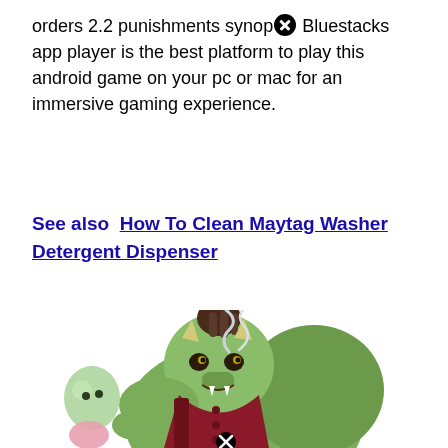orders 2.2 punishments synop[x] Bluestacks app player is the best platform to play this android game on your pc or mac for an immersive gaming experience.
See also  How To Clean Maytag Washer Detergent Dispenser
[Figure (illustration): Cartoon illustration of a large green muscular troll or ogre creature with horns, mohawk-style dark hair, wearing a dark red/maroon vest, sitting and smoking with smoke wisps rising, with a smaller ghost-like creature beside it.]